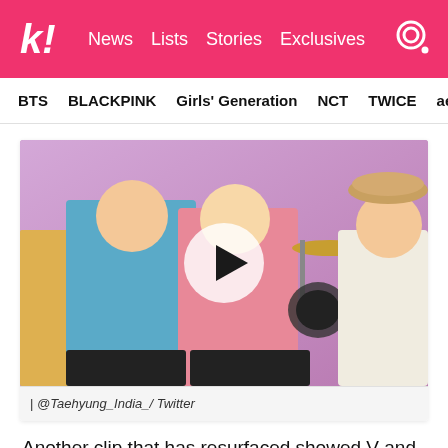k! News Lists Stories Exclusives
BTS   BLACKPINK   Girls' Generation   NCT   TWICE   aespa
[Figure (photo): BTS members seated in colorful outfits on a stage with pink background and musical instruments; a video play button overlay is visible in the center.]
| @Taehyung_India_/ Twitter
Another clip that has resurfaced showed V and